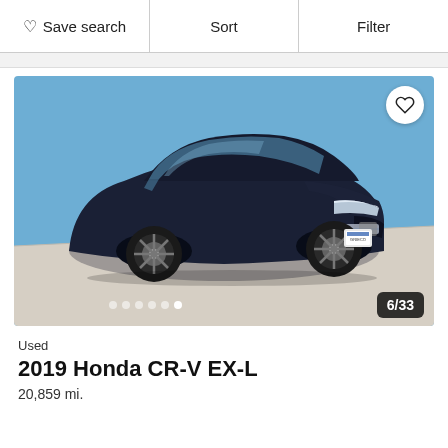Save search | Sort | Filter
[Figure (photo): Black 2019 Honda CR-V EX-L SUV photographed in a dealership photo studio against a blue background, front 3/4 view. Image counter shows 6/33 in bottom right corner, navigation dots at bottom center.]
Used
2019 Honda CR-V EX-L
20,859 mi.